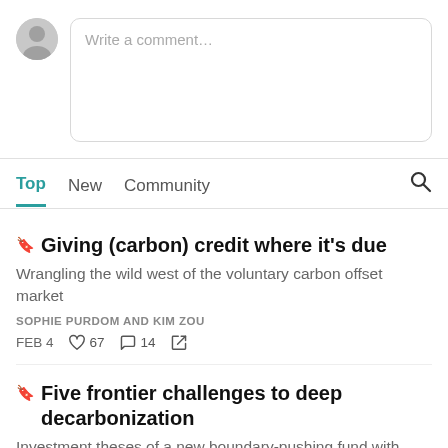[Figure (screenshot): Comment input area with avatar placeholder and rounded text box saying 'Write a comment...']
Top  New  Community
🔖 Giving (carbon) credit where it's due
Wrangling the wild west of the voluntary carbon offset market
SOPHIE PURDOM AND KIM ZOU
FEB 4  ♡ 67  💬 14  ↗
🔖 Five frontier challenges to deep decarbonization
Investment theses of a new boundary-pushing fund with Energy Impact Partners' Shayle Kann